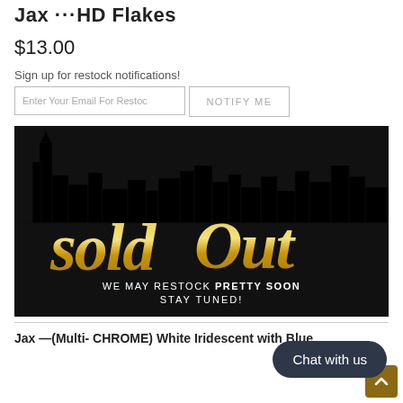Jax ···HD Flakes
$13.00
Sign up for restock notifications!
[Figure (screenshot): Sold Out banner image with black city skyline silhouette background, gold script text reading 'sold Out', and white text 'WE MAY RESTOCK PRETTY SOON STAY TUNED!']
Jax  —(Multi- CHROME) White Iridescent  with Blue